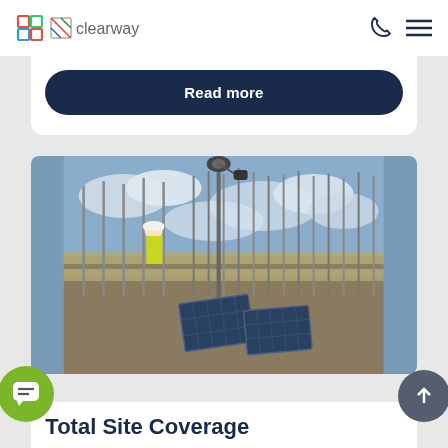clearway
Read more
[Figure (photo): Construction site photo showing a worker in high-visibility jacket and hard hat on scaffolding. A tall pole with a security camera is in the center. Solar panels are visible in the foreground. Steel rebar poles line the background against a cloudy sky.]
Total Site Coverage